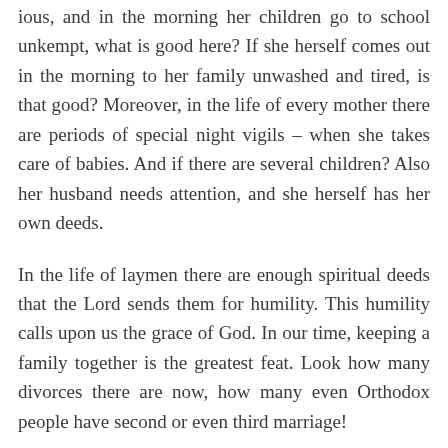ious, and in the morning her children go to school unkempt, what is good here? If she herself comes out in the morning to her family unwashed and tired, is that good? Moreover, in the life of every mother there are periods of special night vigils – when she takes care of babies. And if there are several children? Also her husband needs attention, and she herself has her own deeds.
In the life of laymen there are enough spiritual deeds that the Lord sends them for humility. This humility calls upon us the grace of God. In our time, keeping a family together is the greatest feat. Look how many divorces there are now, how many even Orthodox people have second or even third marriage!